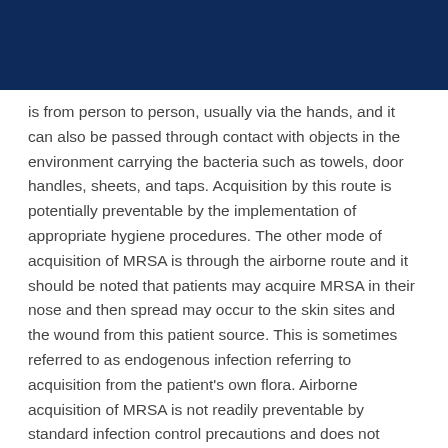is from person to person, usually via the hands, and it can also be passed through contact with objects in the environment carrying the bacteria such as towels, door handles, sheets, and taps. Acquisition by this route is potentially preventable by the implementation of appropriate hygiene procedures. The other mode of acquisition of MRSA is through the airborne route and it should be noted that patients may acquire MRSA in their nose and then spread may occur to the skin sites and the wound from this patient source. This is sometimes referred to as endogenous infection referring to acquisition from the patient’s own flora. Airborne acquisition of MRSA is not readily preventable by standard infection control precautions and does not imply any lapse in the standard of care.